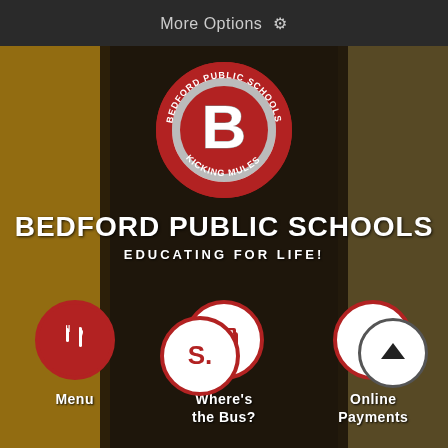More Options ⚙
[Figure (logo): Bedford Public Schools circular logo with red border, large B letter, text reading BEDFORD PUBLIC SCHOOLS and KICKING MULES around the edge]
BEDFORD PUBLIC SCHOOLS
EDUCATING FOR LIFE!
[Figure (infographic): Three circular icon buttons in a row: Menu (fork and knife icon, red background), Where's the Bus? (bus icon, white background with red border), Online Payments (dollar sign, white background with red border)]
[Figure (infographic): Partial bottom row showing Schoology icon (S, white background with red border) and an up-arrow navigation button (white circle, dark border)]